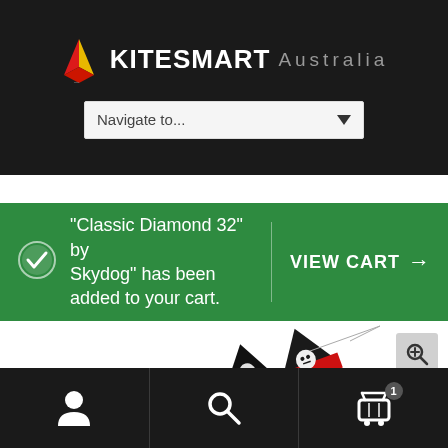[Figure (logo): KiteSmart Australia logo with kite icon on dark background]
[Figure (screenshot): Navigate to... dropdown menu]
“Classic Diamond 32” by Skydog” has been added to your cart.
VIEW CART →
[Figure (photo): Pirate skull kite product image with zoom icon]
[Figure (infographic): Bottom navigation bar with account, search, and cart (1) icons]